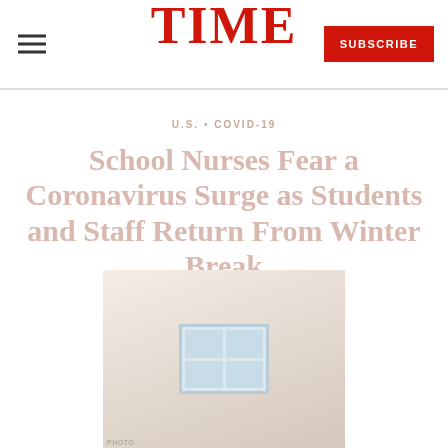TIME — SUBSCRIBE
U.S. • COVID-19
School Nurses Fear a Coronavirus Surge as Students and Staff Return From Winter Break
[Figure (photo): Indoor school setting, likely a school nurse's office or classroom with window visible, muted beige and blue tones]